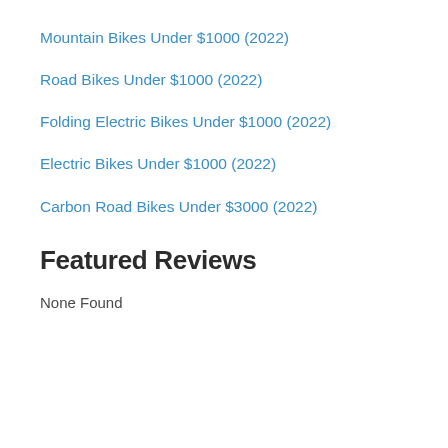Mountain Bikes Under $1000 (2022)
Road Bikes Under $1000 (2022)
Folding Electric Bikes Under $1000 (2022)
Electric Bikes Under $1000 (2022)
Carbon Road Bikes Under $3000 (2022)
Featured Reviews
None Found